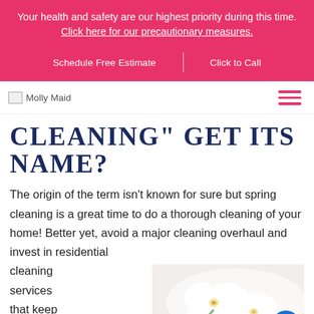Your health and safety are our highest priority during this time. Click here for our precautionary measures.
Schedule Free Estimate | Click to Call
[Figure (logo): Molly Maid logo placeholder with hamburger menu icon]
CLEANING" GET ITS NAME?
The origin of the term isn't known for sure but spring cleaning is a great time to do a thorough cleaning of your home! Better yet, avoid a major cleaning overhaul and invest in residential cleaning services that keep
[Figure (photo): Photo of white orchid flowers and cleaning supplies on a white background]